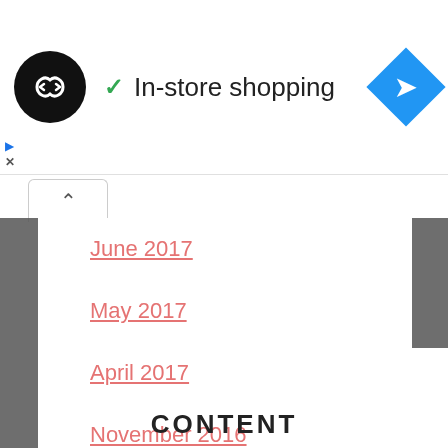[Figure (logo): Black circle logo with double arrow/infinity symbol in white]
✓ In-store shopping
[Figure (other): Blue navigation diamond/arrow icon]
June 2017
May 2017
April 2017
November 2016
October 2016
August 2016
CONTENT